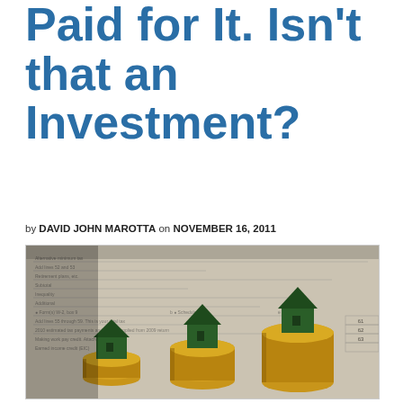Paid for It. Isn't that an Investment?
by DAVID JOHN MAROTTA on NOVEMBER 16, 2011
[Figure (photo): Three stacks of gold coins with green toy houses on top, arranged in ascending height from left to right, placed on top of a tax form document background. The image suggests real estate as an investment in relation to taxes.]